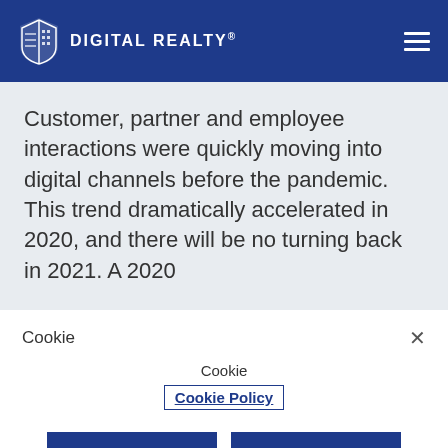[Figure (logo): Digital Realty logo with blue shield/book icon and white text 'DIGITAL REALTY®' on dark blue header bar with hamburger menu icon on the right]
Customer, partner and employee interactions were quickly moving into digital channels before the pandemic. This trend dramatically accelerated in 2020, and there will be no turning back in 2021. A 2020
Cookie
Cookie
Cookie Policy
Cookie
Cookie